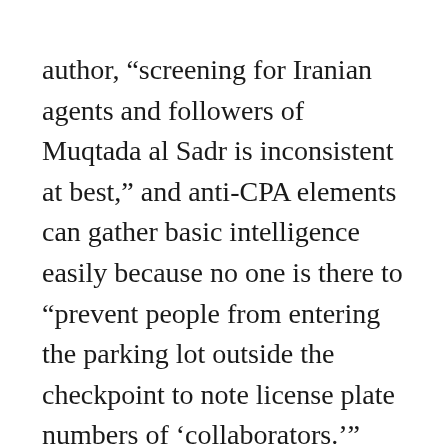author, “screening for Iranian agents and followers of Muqtada al Sadr is inconsistent at best,” and anti-CPA elements can gather basic intelligence easily because no one is there to “prevent people from entering the parking lot outside the checkpoint to note license plate numbers of ‘collaborators.’”
Ordinary Iraqis also “fear that some of the custodial staff note who comes and goes,” according to the memo, causing a